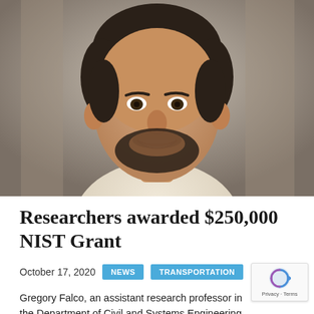[Figure (photo): Headshot of Gregory Falco, a man with dark hair and beard, smiling, wearing a light-colored shirt, photographed outdoors with blurred background.]
Researchers awarded $250,000 NIST Grant
October 17, 2020   NEWS   TRANSPORTATION
Gregory Falco, an assistant research professor in the Department of Civil and Systems Engineering and a